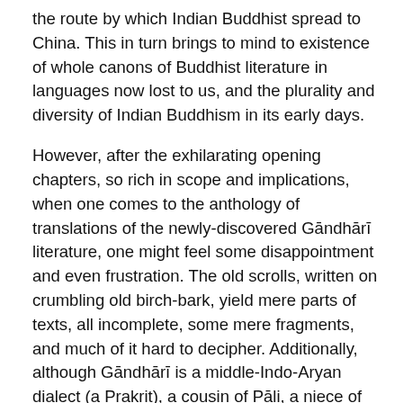the route by which Indian Buddhist spread to China. This in turn brings to mind to existence of whole canons of Buddhist literature in languages now lost to us, and the plurality and diversity of Indian Buddhism in its early days.
However, after the exhilarating opening chapters, so rich in scope and implications, when one comes to the anthology of translations of the newly-discovered Gāndhārī literature, one might feel some disappointment and even frustration. The old scrolls, written on crumbling old birch-bark, yield mere parts of texts, all incomplete, some mere fragments, and much of it hard to decipher. Additionally, although Gāndhārī is a middle-Indo-Aryan dialect (a Prakrit), a cousin of Pāli, a niece of Sanskrit, the scholars working on the Gāndhārī manuscripts have hardly anything else to go on as they try to read the texts